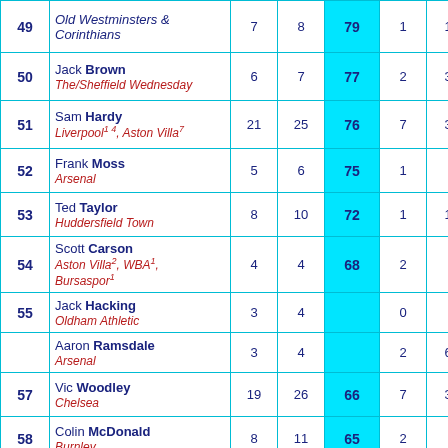| # | Name / Club |  |  | Total |  |  |
| --- | --- | --- | --- | --- | --- | --- |
| 49 | Old Westminsters & Corinthians | 7 | 8 | 79 | 1 | 1 |
| 50 | Jack Brown / The/Sheffield Wednesday | 6 | 7 | 77 | 2 | 3 |
| 51 | Sam Hardy / Liverpool¹⁴, Aston Villa⁷ | 21 | 25 | 76 | 7 | 3 |
| 52 | Frank Moss / Arsenal | 5 | 6 | 75 | 1 |  |
| 53 | Ted Taylor / Huddersfield Town | 8 | 10 | 72 | 1 | 1 |
| 54 | Scott Carson / Aston Villa², WBA¹, Bursaspor¹ | 4 | 4 | 68 | 2 |  |
| 55 | Jack Hacking / Oldham Athletic | 3 | 4 |  | 0 |  |
|  | Aaron Ramsdale / Arsenal | 3 | 4 |  | 2 | 6 |
| 57 | Vic Woodley / Chelsea | 19 | 26 | 66 | 7 | 3 |
| 58 | Colin McDonald / Burnley | 8 | 11 | 65 | 2 |  |
| 59 | Bert Williams / Wolverhampton Wanderers | 24 | 34 | 64 | 3 | 1 |
| 60 | Ron Springett / Sheffield Wednesday | 33 | 48 | 62 | 7 | 2 |
| 61 | Fraser Forster / Celtic, Southampton... | 6 | 7 | 60 | 1 | 1 |